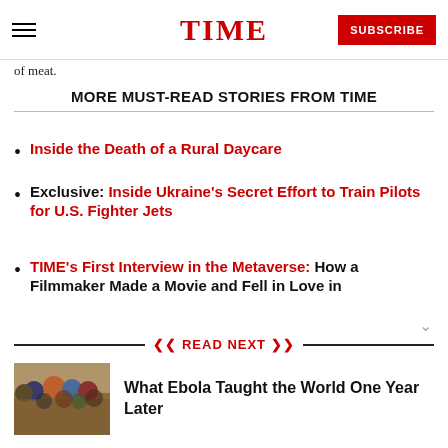TIME — SUBSCRIBE
of meat.
MORE MUST-READ STORIES FROM TIME
Inside the Death of a Rural Daycare
Exclusive: Inside Ukraine's Secret Effort to Train Pilots for U.S. Fighter Jets
TIME's First Interview in the Metaverse: How a Filmmaker Made a Movie and Fell in Love in
❮❮ READ NEXT ❯❯
[Figure (photo): Group of people including military and civilians at what appears to be an outdoor gathering]
What Ebola Taught the World One Year Later